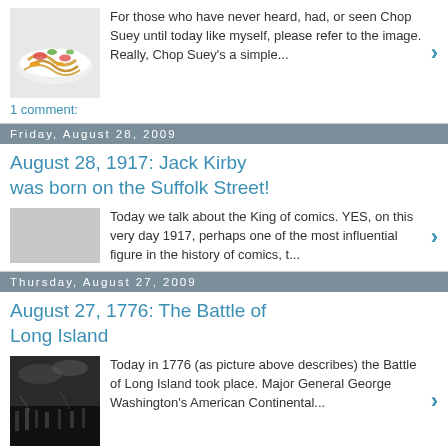[Figure (photo): Chop Suey dish on white plate with vegetables]
For those who have never heard, had, or seen Chop Suey until today like myself, please refer to the image. Really, Chop Suey's a simple...
1 comment:
Friday, August 28, 2009
August 28, 1917: Jack Kirby was born on the Suffolk Street!
[Figure (photo): Placeholder/grey image for Jack Kirby post]
Today we talk about the King of comics. YES, on this very day 1917, perhaps one of the most influential figure in the history of comics, t...
Thursday, August 27, 2009
August 27, 1776: The Battle of Long Island
[Figure (photo): Black and white painting of the Battle of Long Island]
Today in 1776 (as picture above describes) the Battle of Long Island took place. Major General George Washington's American Continental...